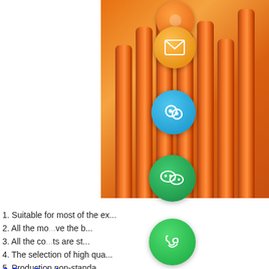[Figure (photo): Orange cylindrical hydraulic rods/tubes stacked vertically, photographed from the side, warm orange metallic finish]
[Figure (infographic): Floating circular social media / contact buttons: orange dot, email (envelope), blue Meipai/contact icon, green WeChat, green WhatsApp, green chat bubble, grey up-arrow scroll button]
1. Suitable for most of the ex...
2. All the mo... ve the b...
3. All the co... ts are st...
4. The selection of high qua...
5. Production non-standa...
3.Our Catalogue
| Brand | Models |
| --- | --- |
| Komatsu | PC50U... PC220-2... PC300-7, PC400... |
| Caterpillar | E70, E110, E120... E312B,E315A, E... E225C,E307, E3... |
| Hitachi | EX60-2/3, EX100... EX350-5, EX400... |